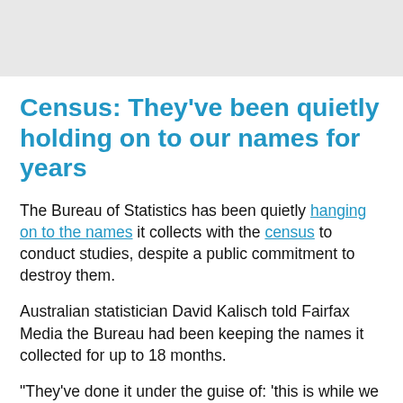[Figure (photo): Gray banner/header image area at top of page]
Census: They've been quietly holding on to our names for years
The Bureau of Statistics has been quietly hanging on to the names it collects with the census to conduct studies, despite a public commitment to destroy them.
Australian statistician David Kalisch told Fairfax Media the Bureau had been keeping the names it collected for up to 18 months.
"They've done it under the guise of: 'this is while we are processing the data'," he said.
"They've done linkages, they've done other things. What's happening now is we are being more transparent about it."
The studies have been conducted despite a commitment on the ABS website that "name and address information will be